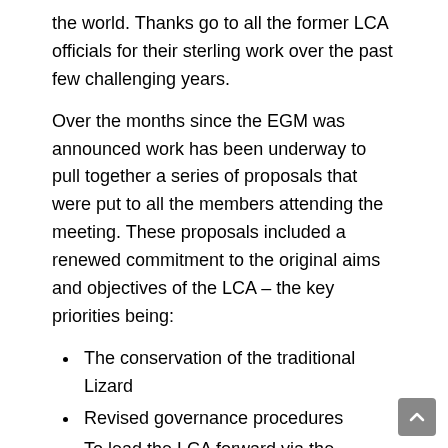the world. Thanks go to all the former LCA officials for their sterling work over the past few challenging years.
Over the months since the EGM was announced work has been underway to pull together a series of proposals that were put to all the members attending the meeting. These proposals included a renewed commitment to the original aims and objectives of the LCA – the key priorities being:
The conservation of the traditional Lizard
Revised governance procedures
To lead the LCA forward via the formation of a strengthened committee
It was pleasing see that the hard work put to the members who were able to attend the meeting were overwhelmingly approved.
The full list of the council members and their roles can be seen in the LCA Officers section under LCA Council on this website.